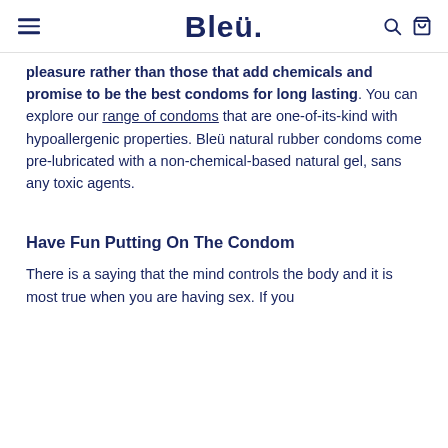Bleü.
pleasure rather than those that add chemicals and promise to be the best condoms for long lasting. You can explore our range of condoms that are one-of-its-kind with hypoallergenic properties. Bleü natural rubber condoms come pre-lubricated with a non-chemical-based natural gel, sans any toxic agents.
Have Fun Putting On The Condom
There is a saying that the mind controls the body and it is most true when you are having sex. If you